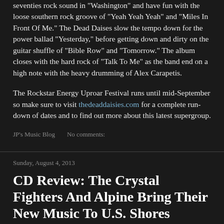seventies rock sound in "Washington" and have fun with the loose southern rock groove of "Yeah Yeah Yeah" and "Miles In Front Of Me." The Dead Daises slow the tempo down for the power ballad "Yesterday," before getting down and dirty on the guitar shuffle of "Bible Row" and "Tomorrow." The album closes with the hard rock of "Talk To Me" as the band end on a high note with the heavy drumming of Alex Carapetis.
The Rockstar Energy Uproar Festival runs until mid-September so make sure to visit thedeaddaisies.com for a complete run-down of dates and to find out more about this latest supergroup.
JP's Music Blog    No comments:
Sunday, August 4, 2013
CD Review: The Crystal Fighters And Alpine Bring Their New Music To U.S. Shores
A couple of bands looking to breakthrough to the U.S. mainstream are the European act The Crystal Fighters and the Australian...